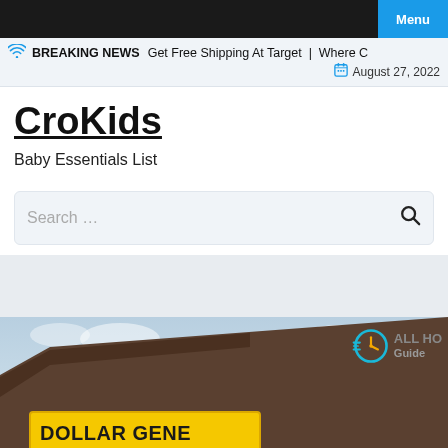Menu
BREAKING NEWS  Get Free Shipping At Target  |  Where C…  August 27, 2022
CroKids
Baby Essentials List
Search …
[Figure (photo): Dollar General store exterior showing the yellow Dollar General sign on a brown building facade against a partly cloudy sky, with an All Hours Guide watermark overlay in the top right corner.]